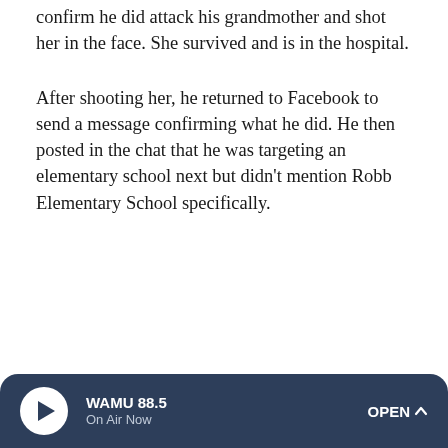confirm he did attack his grandmother and shot her in the face. She survived and is in the hospital.
After shooting her, he returned to Facebook to send a message confirming what he did. He then posted in the chat that he was targeting an elementary school next but didn't mention Robb Elementary School specifically.
WAMU 88.5 On Air Now OPEN